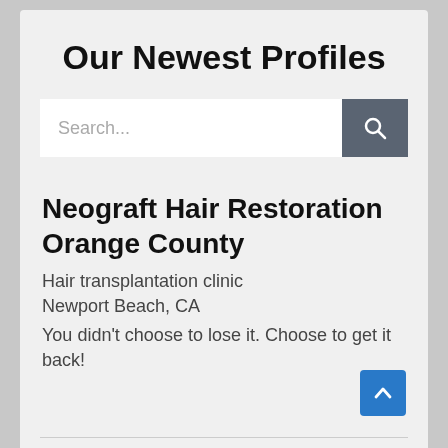Our Newest Profiles
[Figure (screenshot): Search bar with text input field showing placeholder 'Search...' and a dark gray search button with magnifying glass icon]
Neograft Hair Restoration Orange County
Hair transplantation clinic
Newport Beach, CA
You didn't choose to lose it. Choose to get it back!